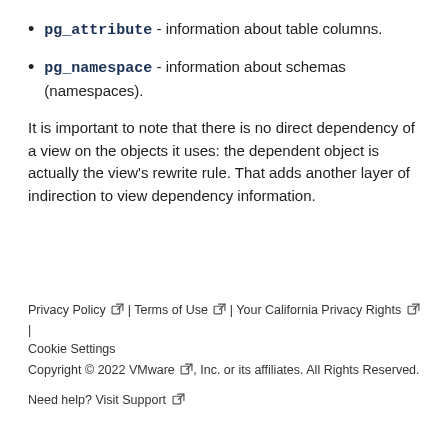pg_attribute - information about table columns.
pg_namespace - information about schemas (namespaces).
It is important to note that there is no direct dependency of a view on the objects it uses: the dependent object is actually the view's rewrite rule. That adds another layer of indirection to view dependency information.
Privacy Policy | Terms of Use | Your California Privacy Rights | Cookie Settings
Copyright © 2022 VMware, Inc. or its affiliates. All Rights Reserved.
Need help? Visit Support